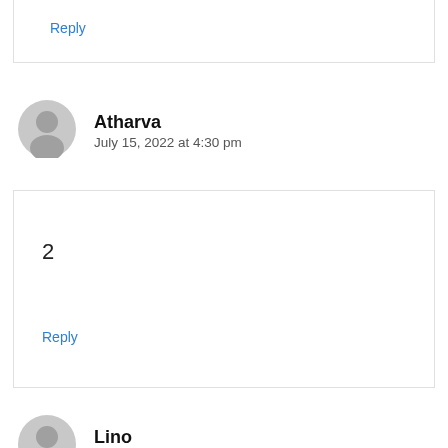Reply
Atharva
July 15, 2022 at 4:30 pm
2
Reply
Lino
July 16, 2022 at 7:53 pm